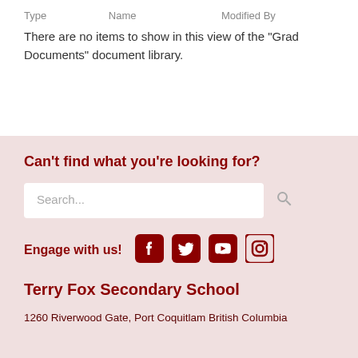| Type | Name | Modified By |
| --- | --- | --- |
There are no items to show in this view of the "Grad Documents" document library.
Can't find what you're looking for?
Search...
Engage with us!
Terry Fox Secondary School
1260 Riverwood Gate, Port Coquitlam British Columbia